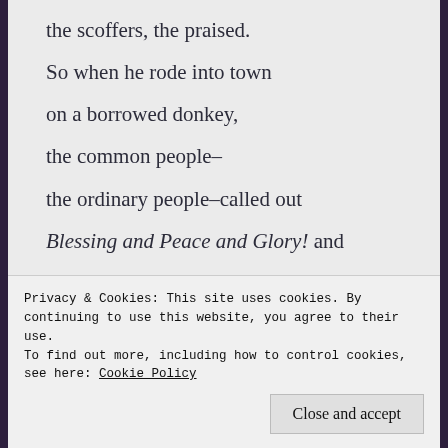the scoffers, the praised.
So when he rode into town
on a borrowed donkey,
the common people–
the ordinary people–called out
Blessing and Peace and Glory! and
Save us, please. Save us!
Privacy & Cookies: This site uses cookies. By continuing to use this website, you agree to their use.
To find out more, including how to control cookies, see here: Cookie Policy